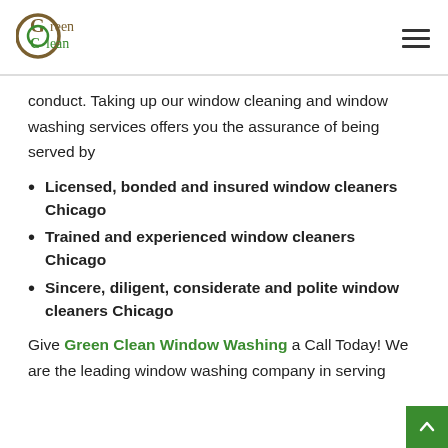[Figure (logo): Green Clean logo with circular G and C letters in brown/olive and green colors]
conduct. Taking up our window cleaning and window washing services offers you the assurance of being served by
Licensed, bonded and insured window cleaners Chicago
Trained and experienced window cleaners Chicago
Sincere, diligent, considerate and polite window cleaners Chicago
Give Green Clean Window Washing a Call Today! We are the leading window washing company in serving